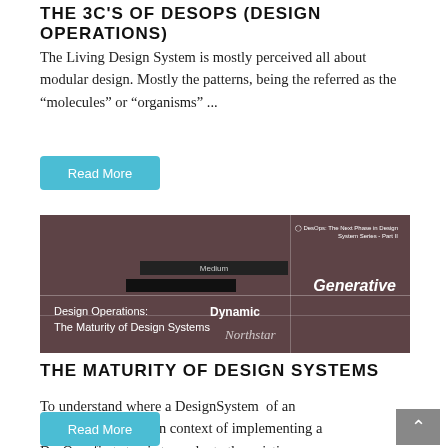THE 3C'S OF DESOPS (DESIGN OPERATIONS)
The Living Design System is mostly perceived all about modular design. Mostly the patterns, being the referred as the “molecules” or “organisms” ...
Read More
[Figure (photo): Photo of a design systems maturity chart/table with overlaid text: 'Design Operations: The Maturity of Design Systems', 'Dynamic', 'Generative', 'Northstar'. Dark reddish-brown tinted overlay.]
THE MATURITY OF DESIGN SYSTEMS
To understand where a DesignSystem  of an organisation stands in context of implementing a DesOps, first step is to evaluate the existing DesignSystem that is in ...
Read More